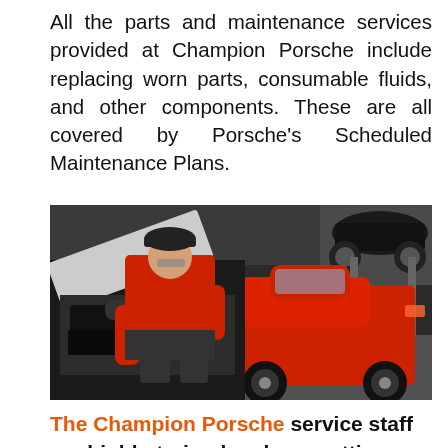All the parts and maintenance services provided at Champion Porsche include replacing worn parts, consumable fluids, and other components. These are all covered by Porsche's Scheduled Maintenance Plans.
[Figure (photo): A mechanic in a red long-sleeve shirt leaning over the open engine bay of a black Porsche in an automotive service garage. A red Porsche 911 is visible in the background, and another vehicle is elevated on a lift in the upper right.]
The Champion Porsche service staff are highly-trained and use cutting-